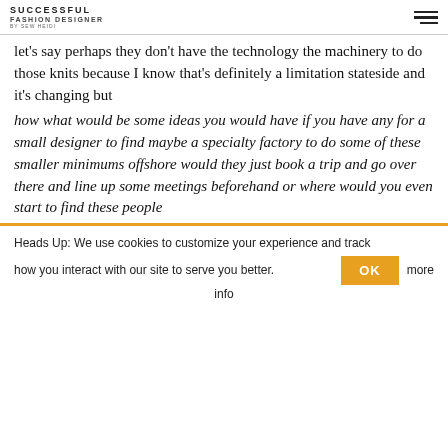SUCCESSFUL FASHION DESIGNER BY SEW HEIDI
let's say perhaps they don't have the technology the machinery to do those knits because I know that's definitely a limitation stateside and it's changing but
how what would be some ideas you would have if you have any for a small designer to find maybe a specialty factory to do some of these smaller minimums offshore would they just book a trip and go over there and line up some meetings beforehand or where would you even start to find these people
Heads Up: We use cookies to customize your experience and track how you interact with our site to serve you better.
more info